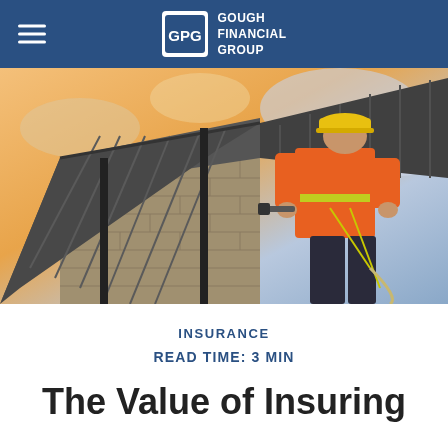GOUGH FINANCIAL GROUP
[Figure (photo): Construction worker in orange high-visibility jacket and yellow hard hat installing corrugated metal roofing on a building with cinder block walls, at sunset with dramatic cloudy sky.]
INSURANCE
READ TIME: 3 MIN
The Value of Insuring